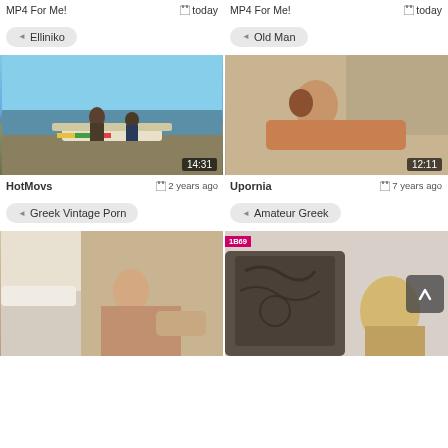MP4 For Me! today | MP4 For Me! today
Elliniko
Old Man
[Figure (photo): Video thumbnail showing people near a boat on water, duration 14:31]
[Figure (photo): Video thumbnail showing a woman reclining outdoors, duration 12:11]
HotMovs  2 years ago
Upornia  7 years ago
Greek Vintage Porn
Amateur Greek
[Figure (photo): Video thumbnail showing a hotel room scene]
[Figure (photo): Video thumbnail showing tattooed person with blonde woman]